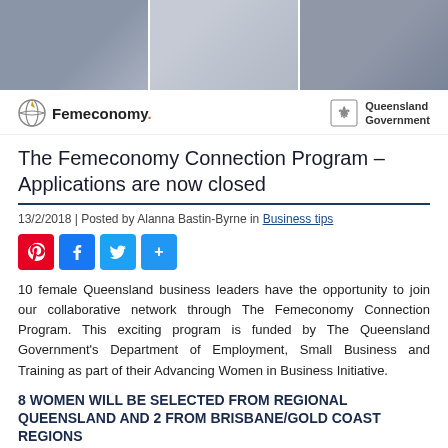[Figure (photo): Three panel header photo showing women in business contexts]
[Figure (logo): Femeconomy logo on the left and Queensland Government logo on the right]
The Femeconomy Connection Program – Applications are now closed
13/2/2018 | Posted by Alanna Bastin-Byrne in Business tips
[Figure (infographic): Social share buttons: Pinterest, Facebook, Twitter, Share]
10 female Queensland business leaders have the opportunity to join our collaborative network through The Femeconomy Connection Program. This exciting program is funded by The Queensland Government's Department of Employment, Small Business and Training as part of their Advancing Women in Business Initiative.
8 WOMEN WILL BE SELECTED FROM REGIONAL QUEENSLAND AND 2 FROM BRISBANE/GOLD COAST REGIONS